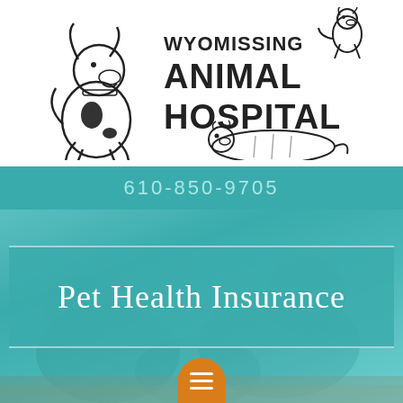[Figure (logo): Wyomissing Animal Hospital logo with illustrated dog, cat, and otter/ferret animals around the text]
610-850-9705
Pet Health Insurance
[Figure (illustration): Orange rounded rectangle hamburger menu button with three white horizontal lines]